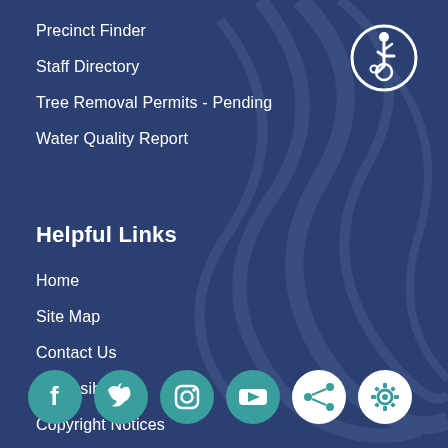Precinct Finder
Staff Directory
Tree Removal Permits - Pending
Water Quality Report
Helpful Links
Home
Site Map
Contact Us
Accessibility
Copyright Notices
[Figure (illustration): Accessibility icon — circular badge with wheelchair user symbol, dark blue border on dark navy background, top right corner]
[Figure (infographic): Social media icon bar at bottom: Facebook, Twitter, Instagram, YouTube (teal circles), Share and Settings (white circles)]